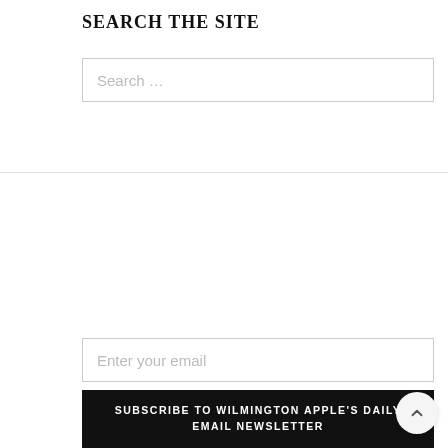SEARCH THE SITE
Search ...
Enter your email
SUBSCRIBE TO WILMINGTON APPLE'S DAILY EMAIL NEWSLETTER